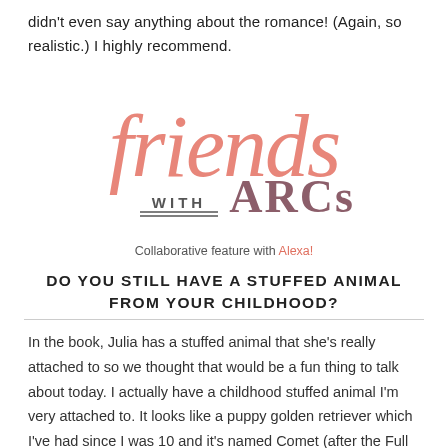didn't even say anything about the romance! (Again, so realistic.) I highly recommend.
[Figure (logo): Friends with ARCs logo — 'friends' in large pink cursive script, 'WITH' in small serif caps with double underline, 'ARCs' in large mauve/dark-pink serif caps]
Collaborative feature with Alexa!
DO YOU STILL HAVE A STUFFED ANIMAL FROM YOUR CHILDHOOD?
In the book, Julia has a stuffed animal that she's really attached to so we thought that would be a fun thing to talk about today. I actually have a childhood stuffed animal I'm very attached to. It looks like a puppy golden retriever which I've had since I was 10 and it's named Comet (after the Full